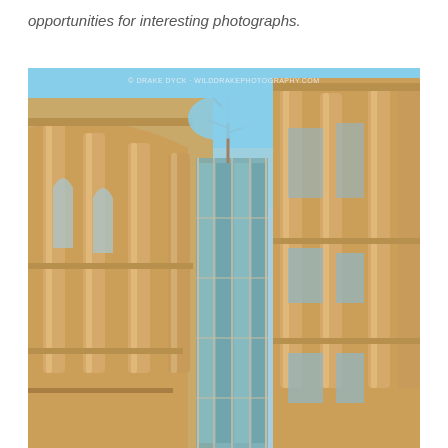opportunities for interesting photographs.
[Figure (photo): Low-angle upward view of a classical sandstone building with tall columns and arched windows, with a modern glass connector section between two wings. Blue sky and bare tree visible between the structures. Watermark reads: © DRAKE DYCK · WILDDRAKEPHOTOGRAPHY.COM]